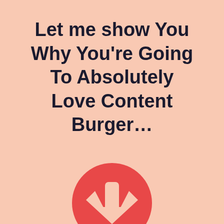Let me show You Why You're Going To Absolutely Love Content Burger…
[Figure (illustration): A red circle containing a white downward-pointing arrow icon, centered on the lower half of the page.]